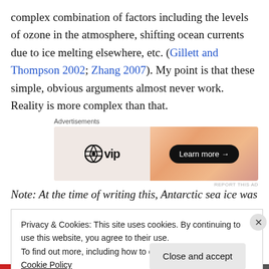complex combination of factors including the levels of ozone in the atmosphere, shifting ocean currents due to ice melting elsewhere, etc. (Gillett and Thompson 2002; Zhang 2007). My point is that these simple, obvious arguments almost never work. Reality is more complex than that.
[Figure (other): Advertisement banner for WordPress VIP with 'Learn more' button on a peach/orange gradient background]
Note: At the time of writing this, Antarctic sea ice was
Privacy & Cookies: This site uses cookies. By continuing to use this website, you agree to their use.
To find out more, including how to control cookies, see here: Cookie Policy